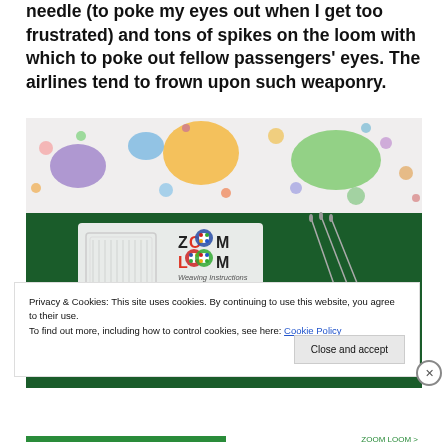needle (to poke my eyes out when I get too frustrated) and tons of spikes on the loom with which to poke out fellow passengers' eyes. The airlines tend to frown upon such weaponry.
[Figure (photo): Photo of a Zoom Loom weaving kit with instruction booklet on dark green fabric, with needles visible, placed on a colorful polka-dot patterned background.]
Privacy & Cookies: This site uses cookies. By continuing to use this website, you agree to their use.
To find out more, including how to control cookies, see here: Cookie Policy
Close and accept